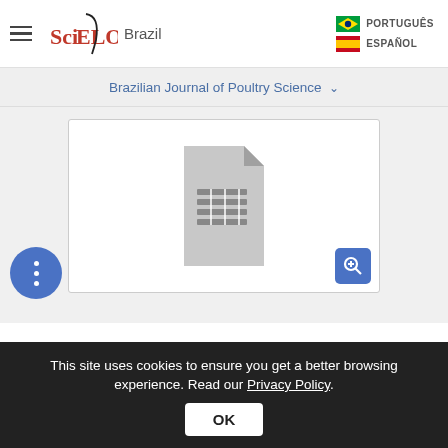[Figure (logo): SciELO Brazil logo with hamburger menu icon]
[Figure (other): Language selector with Portuguese and Spanish flags]
Brazilian Journal of Poultry Science ∨
[Figure (other): Document spreadsheet icon placeholder with zoom button and floating action button with three dots]
This site uses cookies to ensure you get a better browsing experience. Read our Privacy Policy.
OK